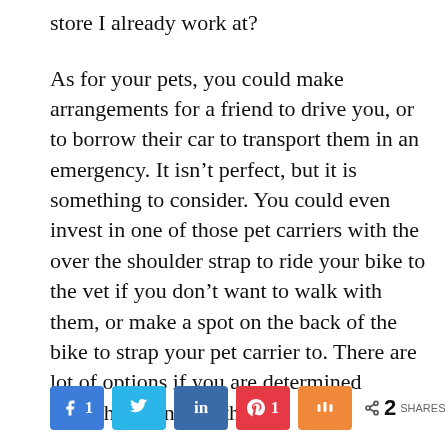store I already work at?
As for your pets, you could make arrangements for a friend to drive you, or to borrow their car to transport them in an emergency. It isn't perfect, but it is something to consider. You could even invest in one of those pet carriers with the over the shoulder strap to ride your bike to the vet if you don't want to walk with them, or make a spot on the back of the bike to strap your pet carrier to. There are lot of options if you are determined enough to consider them.